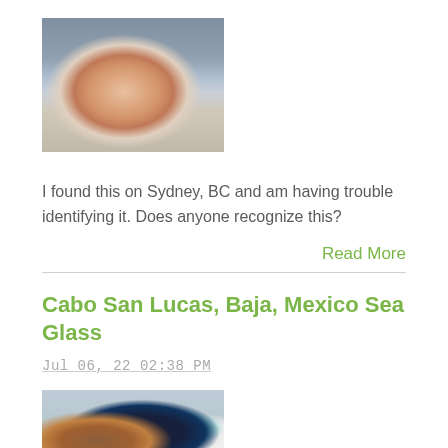[Figure (photo): A hand holding a small rounded glass object with engraved or embossed design, photographed against a blue cloth background]
I found this on Sydney, BC and am having trouble identifying it. Does anyone recognize this?
Read More
Cabo San Lucas, Baja, Mexico Sea Glass
Jul 06, 22 02:38 PM
[Figure (photo): Collection of sea glass pieces including brown, dark teal/black, white, and green frosted pieces arranged on a surface]